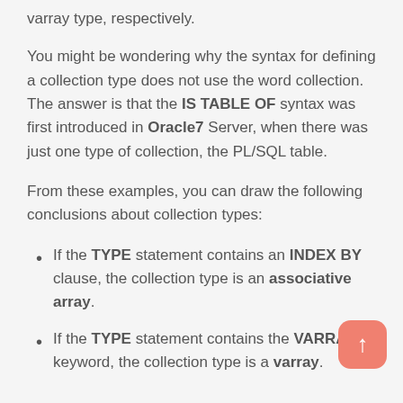varray type, respectively.
You might be wondering why the syntax for defining a collection type does not use the word collection. The answer is that the IS TABLE OF syntax was first introduced in Oracle7 Server, when there was just one type of collection, the PL/SQL table.
From these examples, you can draw the following conclusions about collection types:
If the TYPE statement contains an INDEX BY clause, the collection type is an associative array.
If the TYPE statement contains the VARRAY keyword, the collection type is a varray.